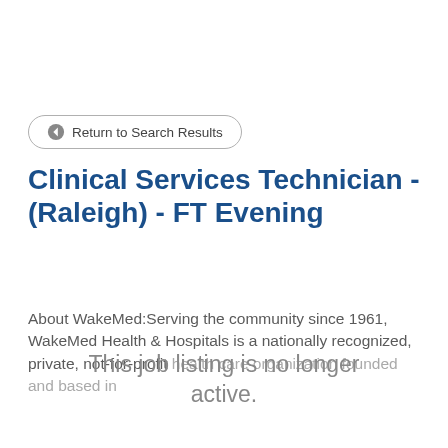← Return to Search Results
Clinical Services Technician - (Raleigh) - FT Evening
About WakeMed:Serving the community since 1961, WakeMed Health & Hospitals is a nationally recognized, private, not-for-profit health care organization founded and based in
This job listing is no longer active.